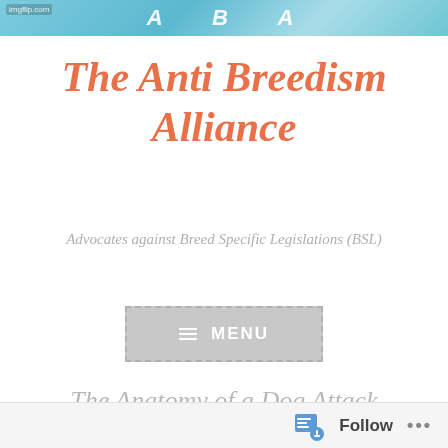[Figure (illustration): Website header banner with turquoise/blue gradient background, stylized text letters, and imgflip.com watermark in top-left corner]
The Anti Breedism Alliance
Advocates against Breed Specific Legislations (BSL)
[Figure (screenshot): Gray menu button with dashed border showing hamburger icon and MENU text in white]
The Anatomy of a Dog Attack
December 4, 2016 — Mongrels & Men
[Figure (screenshot): Follow bar at bottom with follow icon, Follow text, and ellipsis dots]